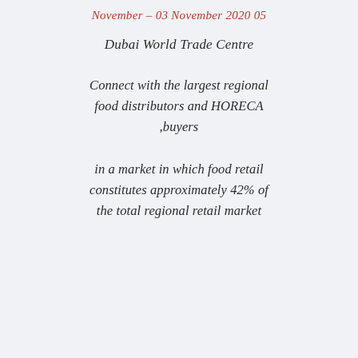November – 03 November 2020 05
Dubai World Trade Centre
Connect with the largest regional food distributors and HORECA buyers,
in a market in which food retail constitutes approximately 42% of the total regional retail market